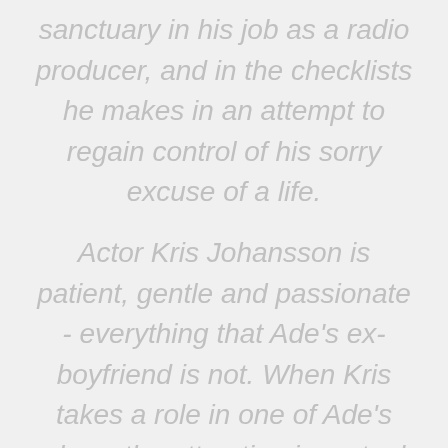sanctuary in his job as a radio producer, and in the checklists he makes in an attempt to regain control of his sorry excuse of a life.
Actor Kris Johansson is patient, gentle and passionate - everything that Ade's ex-boyfriend is not. When Kris takes a role in one of Ade's plays, the attraction is mutual and instant. It is the turning point for Ade. He can either stay on the same path, with Fergus - the bully who has repressed,